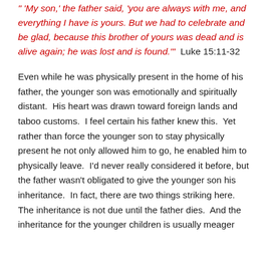" 'My son,' the father said, 'you are always with me, and everything I have is yours. But we had to celebrate and be glad, because this brother of yours was dead and is alive again; he was lost and is found.'"  Luke 15:11-32
Even while he was physically present in the home of his father, the younger son was emotionally and spiritually distant.  His heart was drawn toward foreign lands and taboo customs.  I feel certain his father knew this.  Yet rather than force the younger son to stay physically present he not only allowed him to go, he enabled him to physically leave.  I'd never really considered it before, but the father wasn't obligated to give the younger son his inheritance.  In fact, there are two things striking here.  The inheritance is not due until the father dies.  And the inheritance for the younger children is usually meager